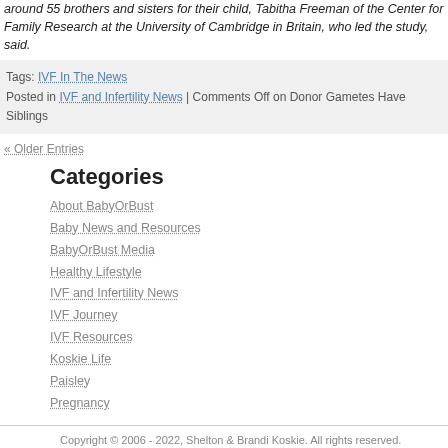around 55 brothers and sisters for their child, Tabitha Freeman of the Center for Family Research at the University of Cambridge in Britain, who led the study, said.
Tags: IVF In The News
Posted in IVF and Infertility News | Comments Off on Donor Gametes Have Siblings
« Older Entries
Categories
About BabyOrBust
Baby News and Resources
BabyOrBust Media
Healthy Lifestyle
IVF and Infertility News
IVF Journey
IVF Resources
Koskie Life
Paisley
Pregnancy
Copyright © 2006 - 2022, Shelton & Brandi Koskie. All rights reserved. Subscribe w...